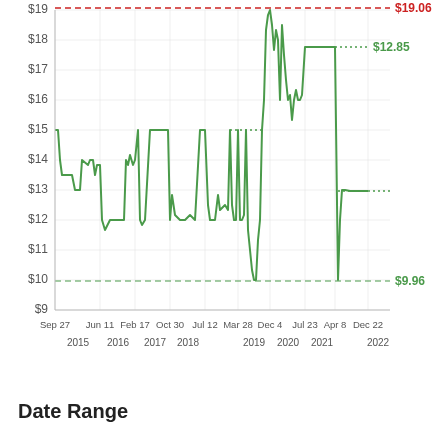[Figure (continuous-plot): Line chart showing price history from Sep 2015 to Dec 2022. Y-axis ranges from $9 to $19. The price starts around $15 in Sep 2015, drops to ~$12.80 in mid-2016, rises to ~$13.90 in early 2016, climbs to $15 mid-2016 through mid-2018, drops sharply to ~$10 in late 2018/early 2019, spikes to ~$19.06 in Dec 2019/early 2020, fluctuates between $15.50-$18.80 in mid-2020, then settles around $17.70 in 2021, and drops to $12.85 by late 2021 through Dec 2022. Reference lines shown: red dashed at $19.06 (high), green dashed at $9.96 (low), and green dotted lines tracking current/recent price levels.]
Date Range